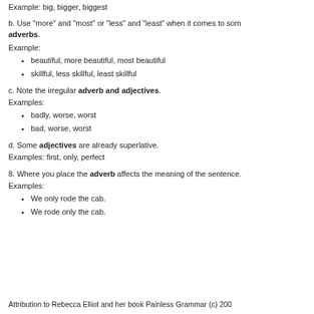Example: big, bigger, biggest
b. Use "more" and "most" or "less" and "least" when it comes to som adverbs.
Example:
beautiful, more beautiful, most beautiful
skillful, less skillful, least skillful
c. Note the irregular adverb and adjectives. Examples:
badly, worse, worst
bad, worse, worst
d. Some adjectives are already superlative. Examples: first, only, perfect
8. Where you place the adverb affects the meaning of the sentence. Examples:
We only rode the cab.
We rode only the cab.
Attribution to Rebecca Elliot and her book Painless Grammar (c) 200